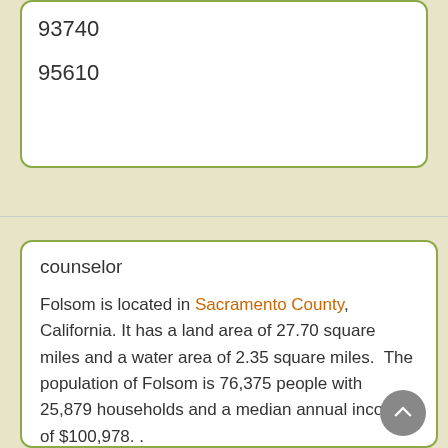93740
95610
counselor
Folsom is located in Sacramento County, California. It has a land area of 27.70 square miles and a water area of 2.35 square miles.  The population of Folsom is 76,375 people with 25,879 households and a median annual income of $100,978. .
Therapy Affordability Meter for Folsom, CA
[Figure (other): Gauge/meter chart showing therapy affordability for Folsom, CA — partially visible at bottom of page, showing colored arc from orange/yellow to green]